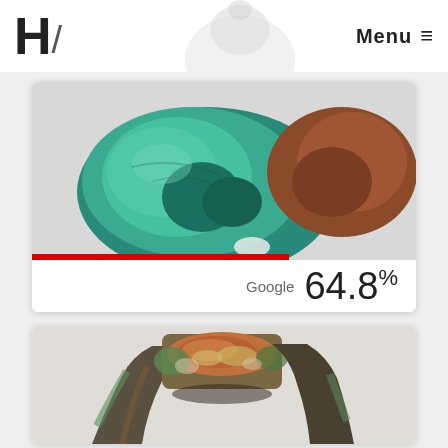H/ Menu ≡
[Figure (photo): Close-up photo of an ancient artifact with teal/green patina (possibly bronze or copper alloy), showing oxidized surface. A red progress bar at the bottom shows approximately 68% width.]
Google  64.8%
[Figure (photo): Close-up photo of an ancient bronze ring with heavy patina, showing green corrosion and reddish mineral deposits on the bezel area.]